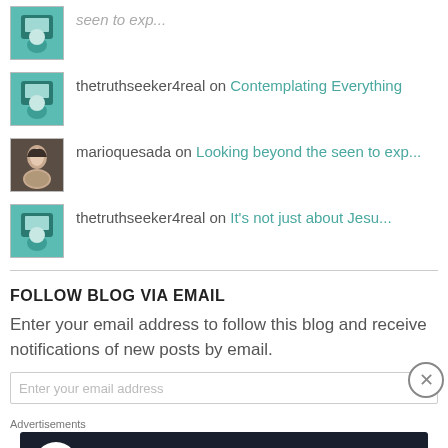thetruthseeker4real on Contemplating Everything
marioquesada on Looking beyond the seen to exp...
thetruthseeker4real on It's not just about Jesu...
FOLLOW BLOG VIA EMAIL
Enter your email address to follow this blog and receive notifications of new posts by email.
[Figure (screenshot): Email input field (partially visible)]
Advertisements
[Figure (infographic): Advertisement banner: 'Launch your online course with WordPress' with Learn More button]